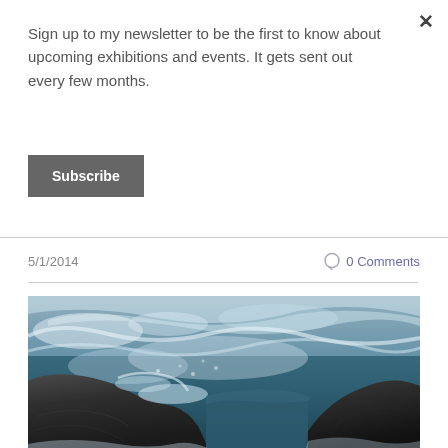Sign up to my newsletter to be the first to know about upcoming exhibitions and events. It gets sent out every few months.
Subscribe
5/1/2014
0 Comments
[Figure (photo): Ocean waves crashing over dark jagged rocks, viewed from a low angle. White foamy water splashes across the rocky surface with turbulent sea in the background.]